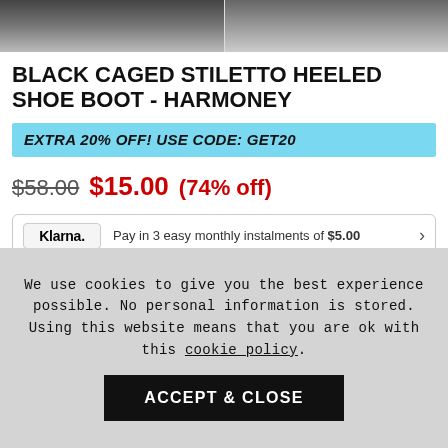[Figure (photo): Product images of black caged stiletto heeled shoe boots shown from multiple angles at the top of the page]
BLACK CAGED STILETTO HEELED SHOE BOOT - HARMONEY
EXTRA 20% OFF! USE CODE: GET20
$58.00 $15.00 (74% off)
Pay in 3 easy monthly instalments of $5.00
Pay in 4 easy instalments of $3.75
SIZE GUIDE
We use cookies to give you the best experience possible. No personal information is stored. Using this website means that you are ok with this cookie policy.
ACCEPT & CLOSE